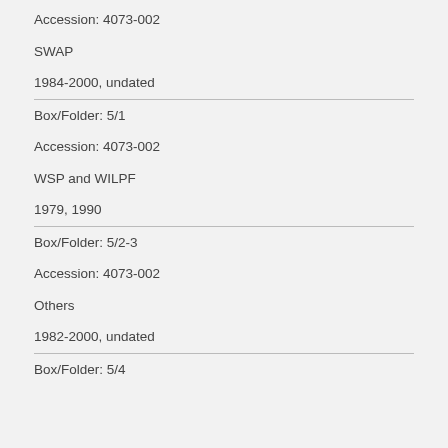Accession: 4073-002
SWAP
1984-2000, undated
Box/Folder: 5/1
Accession: 4073-002
WSP and WILPF
1979, 1990
Box/Folder: 5/2-3
Accession: 4073-002
Others
1982-2000, undated
Box/Folder: 5/4